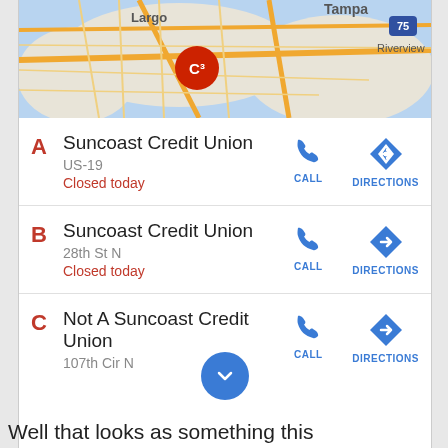[Figure (map): Google Maps screenshot showing Largo and Tampa area with a map pin labeled C3]
A Suncoast Credit Union · US-19 · Closed today
B Suncoast Credit Union · 28th St N · Closed today
C Not A Suncoast Credit Union · 107th Cir N
Well that looks as something this